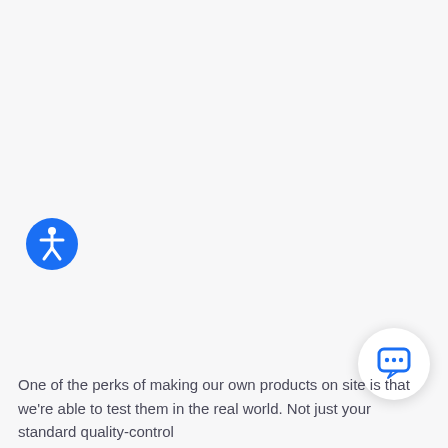[Figure (illustration): Blue circle accessibility icon with a white person/wheelchair figure in the center, located on the left side of the page]
[Figure (illustration): White circular chat bubble button with a blue speech bubble icon, located at the bottom right of the page]
One of the perks of making our own products on site is that we're able to test them in the real world. Not just your standard quality-control